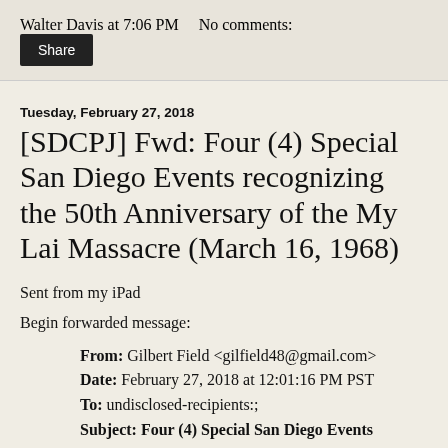Walter Davis at 7:06 PM    No comments:
Share
Tuesday, February 27, 2018
[SDCPJ] Fwd: Four (4) Special San Diego Events recognizing the 50th Anniversary of the My Lai Massacre (March 16, 1968)
Sent from my iPad
Begin forwarded message:
From: Gilbert Field <gilfield48@gmail.com>
Date: February 27, 2018 at 12:01:16 PM PST
To: undisclosed-recipients:;
Subject: Four (4) Special San Diego Events recognizing the 50th Anniversary of the My Lai